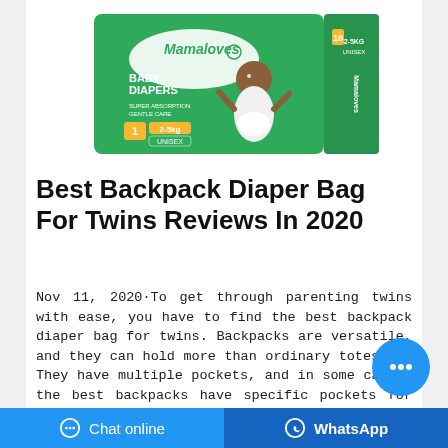[Figure (photo): Green Mamaloves Baby Diapers box, Size 1, 2-5kg, Unisex, showing a baby on the packaging]
Best Backpack Diaper Bag For Twins Reviews In 2020
Nov 11, 2020·To get through parenting twins with ease, you have to find the best backpack diaper bag for twins. Backpacks are versatile, and they can hold more than ordinary totes do. They have multiple pockets, and in some cases, the best backpacks have specific pockets for holding food as well as water resistant pockets for wet clothe
[Figure (other): Blue chat bubble icon with three dots]
Chat online   WhatsApp